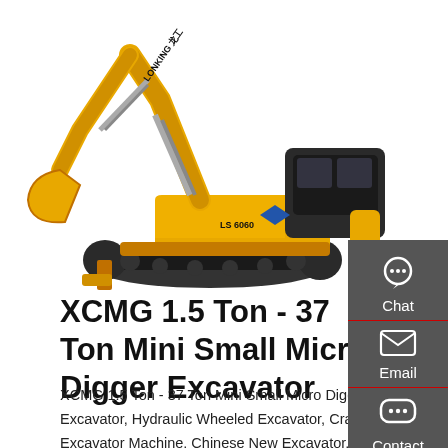[Figure (photo): Yellow XCMG/Lonking mini crawler excavator on white background, model LS 606 visible on body, yellow with blue chevron logo and black cab]
XCMG 1.5 Ton - 37 Ton Mini Small Micro Digger Excavator
XCMG 1.5 Ton - 37 Ton Mini Small Micro Digger Excavator, Hydraulic Wheeled Excavator, Crawler Excavator Machine, Chinese New Excavator. 1. XCMG mini/small hydraulic crawler excavator series. XCMG small hydraulic excavator boasts small size, flexible operation, and favorable